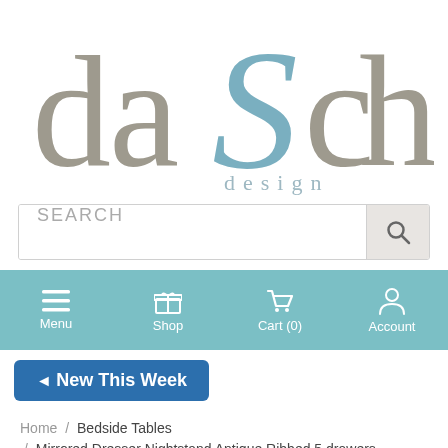[Figure (logo): daSch design logo — lowercase 'da' in taupe/grey, large decorative 'S' in steel blue, lowercase 'ch' in taupe/grey, 'design' in light grey-blue spaced letters below]
[Figure (screenshot): Search bar with placeholder text SEARCH and a search icon button on the right]
[Figure (screenshot): Navigation bar with teal background showing Menu, Shop, Cart (0), and Account icons with labels]
[Figure (infographic): Blue rounded rectangle button labeled New This Week with arrow icon]
Home / Bedside Tables / Mirrored Dresser Nightstand Antique Ribbed 5 drawers